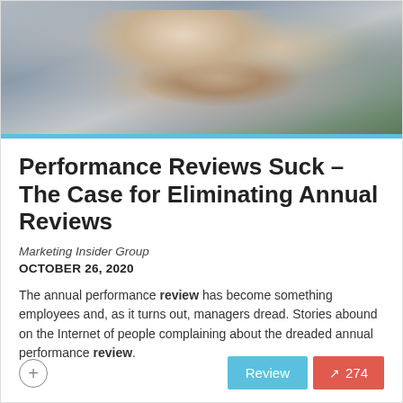[Figure (photo): Two people shaking hands in an office or meeting setting, with a woman smiling in the background.]
Performance Reviews Suck – The Case for Eliminating Annual Reviews
Marketing Insider Group
OCTOBER 26, 2020
The annual performance review has become something employees and, as it turns out, managers dread. Stories abound on the Internet of people complaining about the dreaded annual performance review.